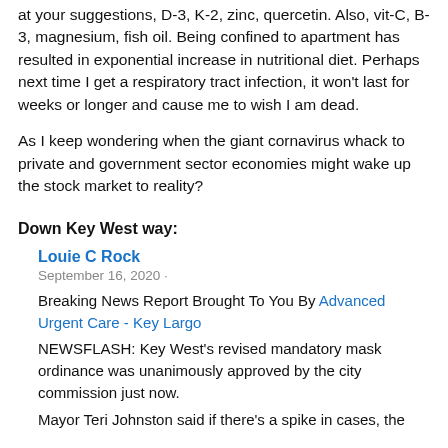at your suggestions, D-3, K-2, zinc, quercetin. Also, vit-C, B-3, magnesium, fish oil. Being confined to apartment has resulted in exponential increase in nutritional diet. Perhaps next time I get a respiratory tract infection, it won't last for weeks or longer and cause me to wish I am dead.
As I keep wondering when the giant cornavirus whack to private and government sector economies might wake up the stock market to reality?
Down Key West way:
Louie C Rock
September 16, 2020 ·
Breaking News Report Brought To You By Advanced Urgent Care - Key Largo
NEWSFLASH: Key West's revised mandatory mask ordinance was unanimously approved by the city commission just now.
Mayor Teri Johnston said if there's a spike in cases, the